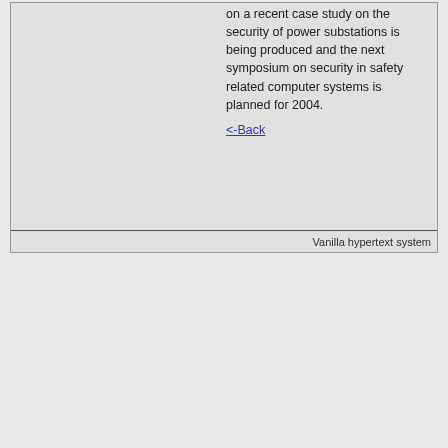on a recent case study on the security of power substations is being produced and the next symposium on security in safety related computer systems is planned for 2004.
<-Back
Vanilla hypertext system